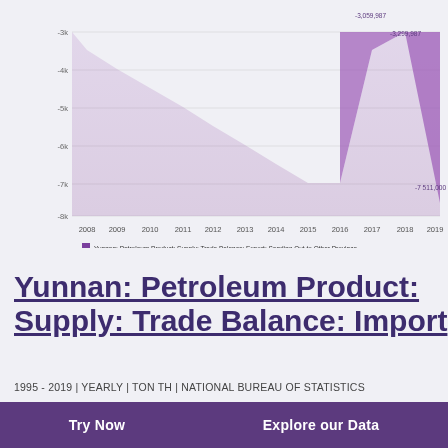[Figure (area-chart): Yunnan: Petroleum Product: Supply: Trade Balance: Export: Sending Out to Other Province]
Yunnan: Petroleum Product: Supply: Trade Balance: Import
1995 - 2019 | YEARLY | TON TH | NATIONAL BUREAU OF STATISTICS
Yunnan: Petroleum Product: Supply: Trade Balance: Import data was reported at 22,614.700 Ton th in 2019. This records an increase from the previous number of 18,402.300 Ton th for 2018. Yunnan: Petroleum Product: Supply: Trade Balance: Import data is updated yearly, averaging 6,225.910 Ton th from
Try Now    Explore our Data